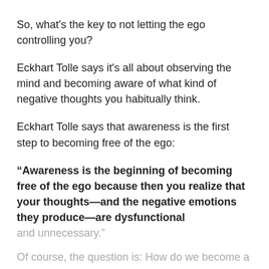So, what's the key to not letting the ego controlling you?
Eckhart Tolle says it's all about observing the mind and becoming aware of what kind of negative thoughts you habitually think.
Eckhart Tolle says that awareness is the first step to becoming free of the ego:
“Awareness is the beginning of becoming free of the ego because then you realize that your thoughts—and the negative emotions they produce—are dysfunctional and unnecessary.”
Of course, the question is: How do we become a